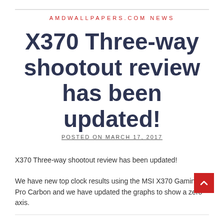AMDWALLPAPERS.COM NEWS
X370 Three-way shootout review has been updated!
POSTED ON MARCH 17, 2017
X370 Three-way shootout review has been updated!
We have new top clock results using the MSI X370 Gaming Pro Carbon and we have updated the graphs to show a zero axis.